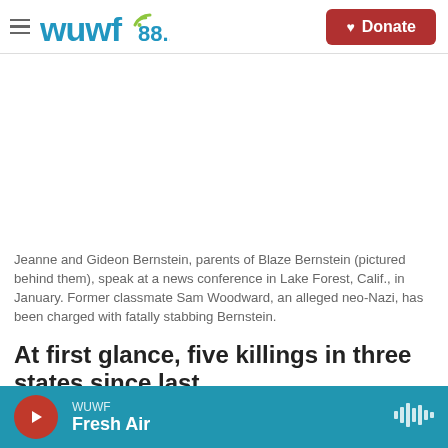wuwf 88.1 | Donate
[Figure (photo): Photo of Jeanne and Gideon Bernstein at a news conference with a portrait of Blaze Bernstein visible behind them — image area appears blank/white in this rendering]
Jeanne and Gideon Bernstein, parents of Blaze Bernstein (pictured behind them), speak at a news conference in Lake Forest, Calif., in January. Former classmate Sam Woodward, an alleged neo-Nazi, has been charged with fatally stabbing Bernstein.
At first glance, five killings in three states since last
WUWF | Fresh Air